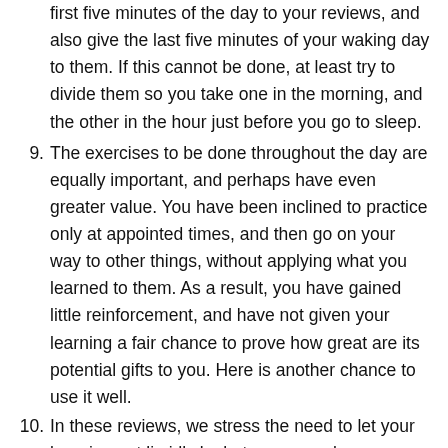first five minutes of the day to your reviews, and also give the last five minutes of your waking day to them. If this cannot be done, at least try to divide them so you take one in the morning, and the other in the hour just before you go to sleep.
9. The exercises to be done throughout the day are equally important, and perhaps have even greater value. You have been inclined to practice only at appointed times, and then go on your way to other things, without applying what you learned to them. As a result, you have gained little reinforcement, and have not given your learning a fair chance to prove how great are its potential gifts to you. Here is another chance to use it well.
10. In these reviews, we stress the need to let your learning not lie idly by between your longer